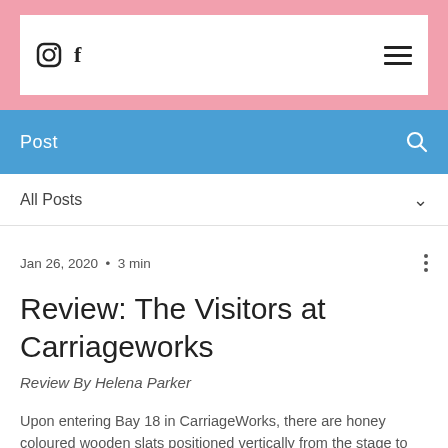Instagram  Facebook  [hamburger menu]
Post
All Posts
Jan 26, 2020  •  3 min
Review: The Visitors at Carriageworks
Review By Helena Parker
Upon entering Bay 18 in CarriageWorks, there are honey coloured wooden slats positioned vertically from the stage to the